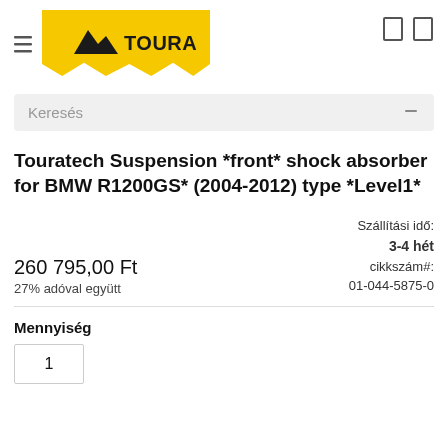[Figure (logo): Touratech logo on yellow background with mountain/arrow icon]
Keresés
Touratech Suspension *front* shock absorber for BMW R1200GS* (2004-2012) type *Level1*
260 795,00 Ft
27% adóval együtt
Szállítási idő:
3-4 hét
cikkszám#:
01-044-5875-0
Mennyiség
1